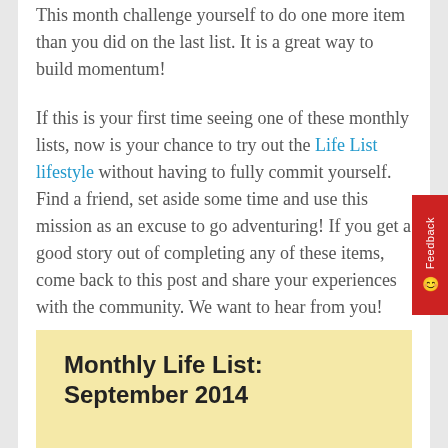This month challenge yourself to do one more item than you did on the last list. It is a great way to build momentum!
If this is your first time seeing one of these monthly lists, now is your chance to try out the Life List lifestyle without having to fully commit yourself. Find a friend, set aside some time and use this mission as an excuse to go adventuring! If you get a good story out of completing any of these items, come back to this post and share your experiences with the community. We want to hear from you!
Monthly Life List: September 2014